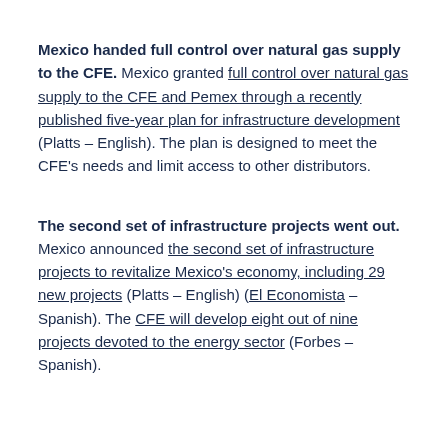Mexico handed full control over natural gas supply to the CFE. Mexico granted full control over natural gas supply to the CFE and Pemex through a recently published five-year plan for infrastructure development (Platts – English). The plan is designed to meet the CFE's needs and limit access to other distributors.
The second set of infrastructure projects went out. Mexico announced the second set of infrastructure projects to revitalize Mexico's economy, including 29 new projects (Platts – English) (El Economista – Spanish). The CFE will develop eight out of nine projects devoted to the energy sector (Forbes – Spanish).